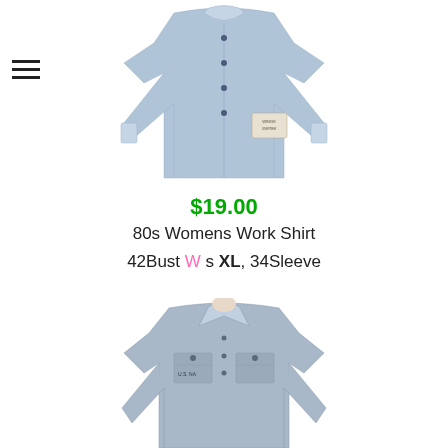[Figure (photo): Light blue women's work shirt with long sleeves and small eagle patch, displayed on a plain background]
$19.00
80s Womens Work Shirt
42Bust W s XL, 34Sleeve
[Figure (photo): Light blue U.S. Navy work shirt with collar and chest pockets, displayed on a mannequin]